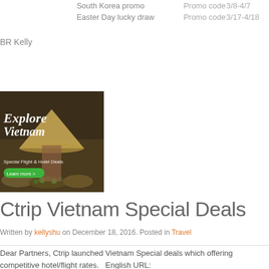|  | Promo | Type | Date |
| --- | --- | --- | --- |
|  | South Korea promo | Promo code | 3/8-4/7 |
|  | Easter Day lucky draw | Promo code | 3/17-4/18 |
BR Kelly
Continue Reading
[Figure (photo): Explore Vietnam - Special Flight & Hotel Deals banner with woman in conical hat at a market]
Ctrip Vietnam Special Deals
Written by kellyshu on December 18, 2016. Posted in Travel
Dear Partners, Ctrip launched Vietnam Special deals which offering competitive hotel/flight rates.   English URL: